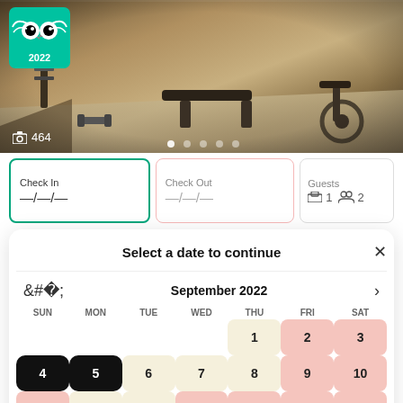[Figure (photo): Hotel gym/fitness center interior with exercise equipment including weights, benches, and stationary bike. TripAdvisor 2022 badge in top-left corner.]
464
Check In —/—/—
Check Out —/—/—
Guests 1 2
Select a date to continue
September 2022
| SUN | MON | TUE | WED | THU | FRI | SAT |
| --- | --- | --- | --- | --- | --- | --- |
|  |  |  |  | 1 | 2 | 3 |
| 4 | 5 | 6 | 7 | 8 | 9 | 10 |
| 11 | 12 | 13 | 14 | 15 | 16 | 17 |